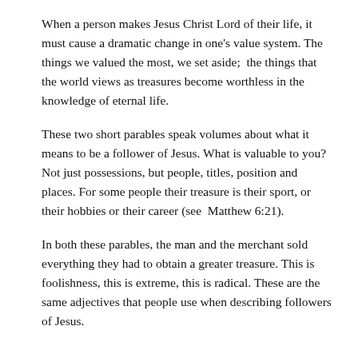When a person makes Jesus Christ Lord of their life, it must cause a dramatic change in one's value system. The things we valued the most, we set aside;  the things that the world views as treasures become worthless in the knowledge of eternal life.
These two short parables speak volumes about what it means to be a follower of Jesus. What is valuable to you? Not just possessions, but people, titles, position and places. For some people their treasure is their sport, or their hobbies or their career (see  Matthew 6:21).
In both these parables, the man and the merchant sold everything they had to obtain a greater treasure. This is foolishness, this is extreme, this is radical. These are the same adjectives that people use when describing followers of Jesus.